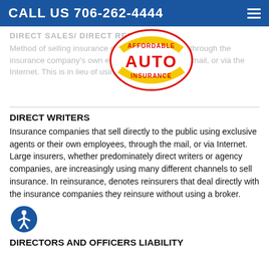CALL US 706-262-4444
DIRECT SALES/ DIRECT RESPONSE
Method of selling insurance directly to the insured through the insurance company's own employees, through the mail, or via the Internet. This is in lieu of using exclusive agents.
[Figure (logo): Affordable Auto Insurance logo — red oval border with yellow banner text 'AFFORDABLE' at top, large red 'AUTO' in center, yellow banner 'INSURANCE' at bottom]
DIRECT WRITERS
Insurance companies that sell directly to the public using exclusive agents or their own employees, through the mail, or via Internet. Large insurers, whether predominately direct writers or agency companies, are increasingly using many different channels to sell insurance. In reinsurance, denotes reinsurers that deal directly with the insurance companies they reinsure without using a broker.
DIRECTORS AND OFFICERS LIABILITY